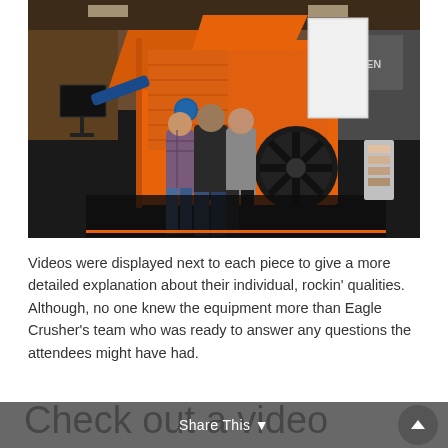[Figure (photo): Photo of three people standing in front of a large orange Eagle Crusher jaw crusher machine displayed on a dark floor at an indoor trade show exhibition hall.]
Videos were displayed next to each piece to give a more detailed explanation about their individual, rockin' qualities. Although, no one knew the equipment more than Eagle Crusher's team who was ready to answer any questions the attendees might have had.
Check out a video
Share This